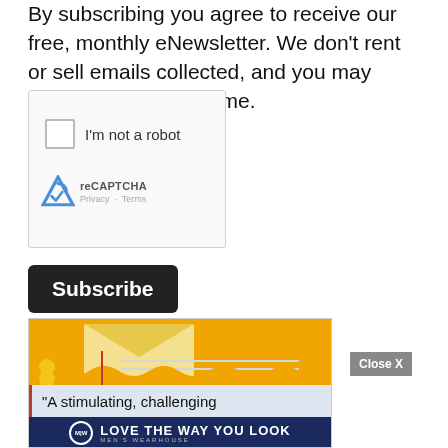By subscribing you agree to receive our free, monthly eNewsletter. We don't rent or sell emails collected, and you may unsubscribe at any time.
[Figure (screenshot): reCAPTCHA widget with checkbox labeled 'I'm not a robot' and reCAPTCHA logo with Privacy and Terms links]
Subscribe
[Figure (screenshot): Advertisement banner with orange envelope illustration, quote text 'A stimulating, challenging', Men's Wearhouse 'Love The Way You Look' banner ad, and close X button]